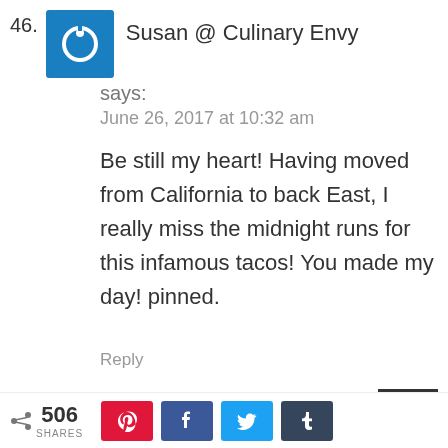46. Susan @ Culinary Envy says:
June 26, 2017 at 10:32 am
Be still my heart! Having moved from California to back East, I really miss the midnight runs for this infamous tacos! You made my day! pinned.
Reply
A. The Bearded Hiker
< 506 SHARES